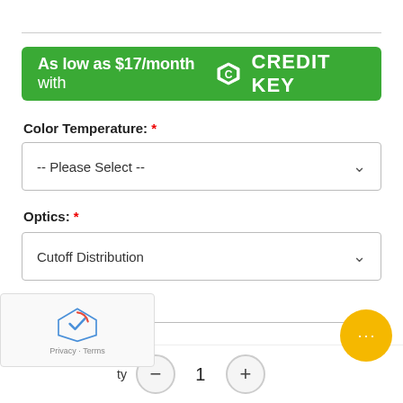[Figure (infographic): Green banner reading 'As low as $17/month with Credit Key logo CREDIT KEY']
Color Temperature: *
[Figure (screenshot): Dropdown selector showing '-- Please Select --']
Optics: *
[Figure (screenshot): Dropdown selector showing 'Cutoff Distribution']
Finish: *
[Figure (screenshot): Dropdown selector showing 'Bronze']
[Figure (screenshot): Quantity control with minus button, value 1, and plus button at bottom]
[Figure (screenshot): reCAPTCHA widget overlay at bottom left]
[Figure (screenshot): Yellow chat bubble widget at bottom right]